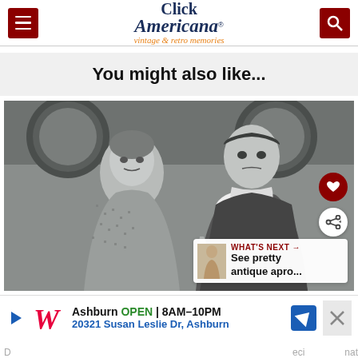Click Americana — vintage & retro memories
You might also like...
[Figure (photo): Vintage black-and-white photo of a woman and man, appearing to be from a 1940s or 1950s context. Woman on left looks surprised; man on right looks stern. A 'What's Next' overlay in the bottom right shows a small fashion illustration with text 'See pretty antique apro...']
WHAT'S NEXT → See pretty antique apro...
Ashburn  OPEN | 8AM–10PM  20321 Susan Leslie Dr, Ashburn